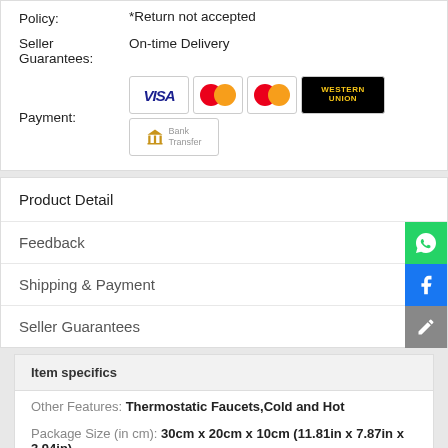Policy: *Return not accepted
Seller Guarantees: On-time Delivery
Payment: [VISA, Mastercard, Mastercard, Western Union, Bank Transfer]
Product Detail
Feedback
Shipping & Payment
Seller Guarantees
Item specifics
Other Features: Thermostatic Faucets,Cold and Hot
Package Size (in cm): 30cm x 20cm x 10cm (11.81in x 7.87in x 3.94in)